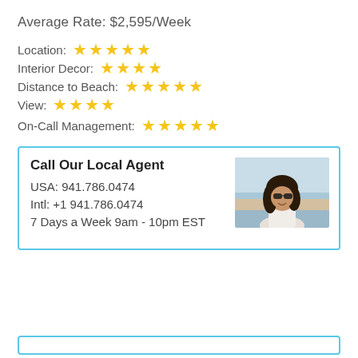Average Rate: $2,595/Week
Location: ★★★★★
Interior Decor: ★★★★
Distance to Beach: ★★★★★
View: ★★★★
On-Call Management: ★★★★★
Call Our Local Agent
USA: 941.786.0474
Intl: +1 941.786.0474
7 Days a Week 9am - 10pm EST
[Figure (photo): Photo of a smiling woman with dark hair and sunglasses, outdoors near a beach]